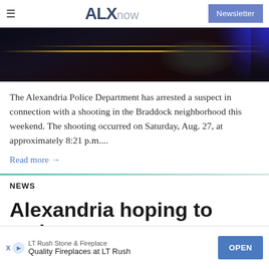ALXnow | Newsletter
[Figure (photo): Dark nighttime road scene with vehicle and colored light streaks (police lights, yellow road lines)]
The Alexandria Police Department has arrested a suspect in connection with a shooting in the Braddock neighborhood this weekend. The shooting occurred on Saturday, Aug. 27, at approximately 8:21 p.m....
Read more →
NEWS
Alexandria hoping to make new reg...
[Figure (screenshot): Advertisement banner: LT Rush Stone & Fireplace - Quality Fireplaces at LT Rush - OPEN button]